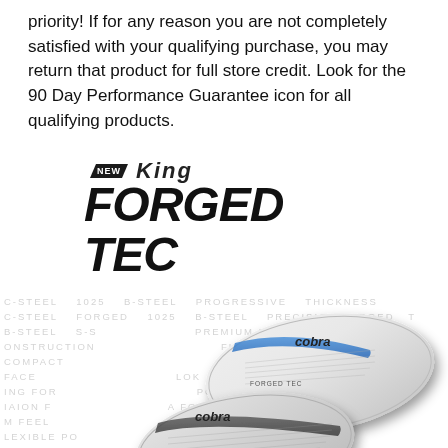priority! If for any reason you are not completely satisfied with your qualifying purchase, you may return that product for full store credit. Look for the 90 Day Performance Guarantee icon for all qualifying products.
[Figure (illustration): Cobra King Forged TEC irons product image showing three silver/chrome iron clubs with 'cobra' branding and 'FORGED TEC' text on the clubheads, with watermark text in the background listing product features]